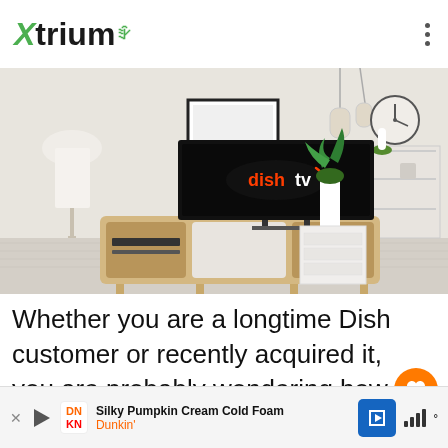Xtrium
[Figure (photo): Living room scene with a TV displaying the Dish TV logo on a wooden media console, a white floor lamp on the left, a blank picture frame on the wall, shelving unit on the right with decorative items, a white plant pot, and pendant lights in the background.]
Whether you are a longtime Dish customer or recently acquired it, you are probably wondering how to get rid
[Figure (other): Advertisement bar: Dunkin' - Silky Pumpkin Cream Cold Foam ad with play button, DN/KN logo, navigation arrow, and weather/signal indicators.]